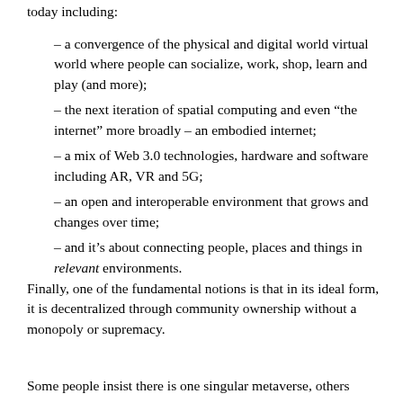today including:
– a convergence of the physical and digital world virtual world where people can socialize, work, shop, learn and play (and more);
– the next iteration of spatial computing and even “the internet” more broadly – an embodied internet;
– a mix of Web 3.0 technologies, hardware and software including AR, VR and 5G;
– an open and interoperable environment that grows and changes over time;
– and it’s about connecting people, places and things in relevant environments.
Finally, one of the fundamental notions is that in its ideal form, it is decentralized through community ownership without a monopoly or supremacy.
Some people insist there is one singular metaverse, others